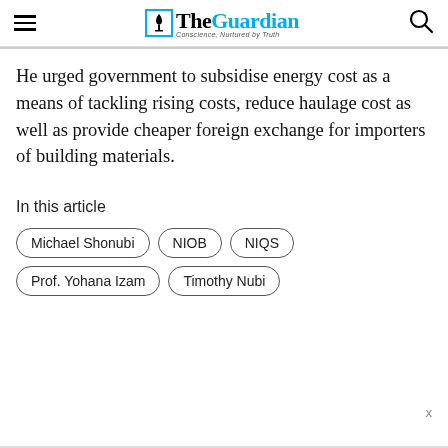The Guardian — Conscience, Nurtured by Truth
He urged government to subsidise energy cost as a means of tackling rising costs, reduce haulage cost as well as provide cheaper foreign exchange for importers of building materials.
In this article
Michael Shonubi
NIOB
NIQS
Prof. Yohana Izam
Timothy Nubi